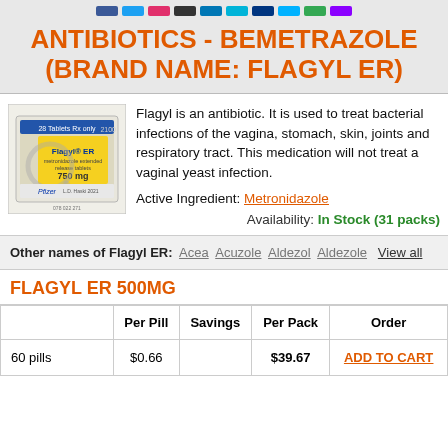social icons bar
ANTIBIOTICS - BEMETRAZOLE (BRAND NAME: FLAGYL ER)
[Figure (photo): Flagyl ER medication box/package photo]
Flagyl is an antibiotic. It is used to treat bacterial infections of the vagina, stomach, skin, joints and respiratory tract. This medication will not treat a vaginal yeast infection.
Active Ingredient: Metronidazole
Availability: In Stock (31 packs)
Other names of Flagyl ER: Acea  Acuzole  Aldezol  Aldezole  View all
FLAGYL ER 500MG
|  | Per Pill | Savings | Per Pack | Order |
| --- | --- | --- | --- | --- |
| 60 pills | $0.66 |  | $39.67 | ADD TO CART |